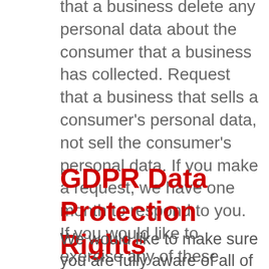that a business delete any personal data about the consumer that a business has collected. Request that a business that sells a consumer's personal data, not sell the consumer's personal data. If you make a request, we have one month to respond to you. If you would like to exercise any of these rights, please contact us.
GDPR Data Protection Rights
We would like to make sure you are fully aware of all of your data protection rights. Every user is entitled to the